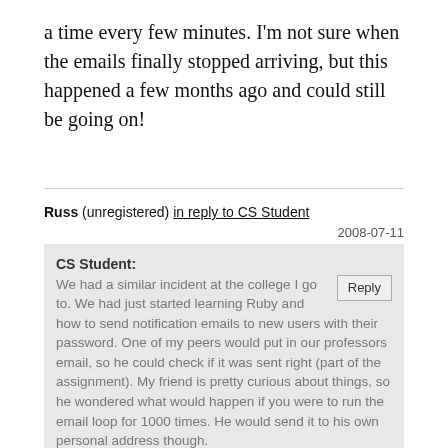a time every few minutes. I'm not sure when the emails finally stopped arriving, but this happened a few months ago and could still be going on!
Russ (unregistered) in reply to CS Student
2008-07-11
CS Student:
We had a similar incident at the college I go to. We had just started learning Ruby and how to send notification emails to new users with their password. One of my peers would put in our professors email, so he could check if it was sent right (part of the assignment). My friend is pretty curious about things, so he wondered what would happen if you were to run the email loop for 1000 times. He would send it to his own personal address though.
Two errors occured: